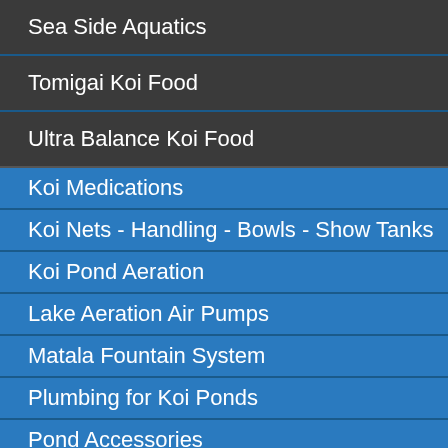Sea Side Aquatics
Tomigai Koi Food
Ultra Balance Koi Food
Koi Medications
Koi Nets - Handling - Bowls - Show Tanks
Koi Pond Aeration
Lake Aeration Air Pumps
Matala Fountain System
Plumbing for Koi Ponds
Pond Accessories
Pond Building Accessories
Pond Care Treatment and Testing